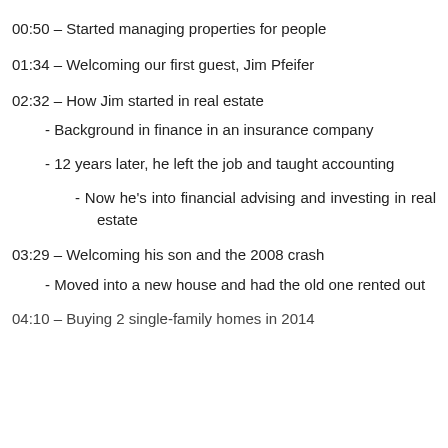00:50 – Started managing properties for people
01:34 – Welcoming our first guest, Jim Pfeifer
02:32 – How Jim started in real estate
- Background in finance in an insurance company
- 12 years later, he left the job and taught accounting
- Now he's into financial advising and investing in real estate
03:29 – Welcoming his son and the 2008 crash
- Moved into a new house and had the old one rented out
04:10 – Buying 2 single-family homes in 2014